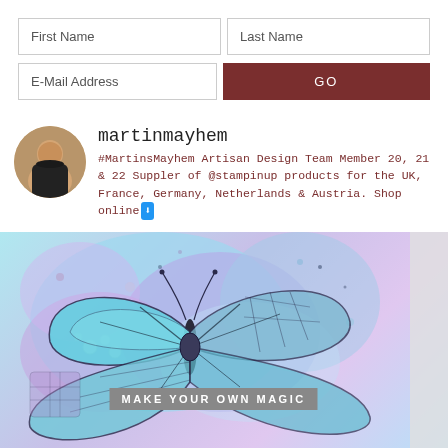| First Name | Last Name |
| --- | --- |
|  |  |
| E-Mail Address | GO |
martinmayhem
#MartinsMayhem Artisan Design Team Member 20, 21 & 22 Suppler of @stampinup products for the UK, France, Germany, Netherlands & Austria. Shop online⬇
[Figure (photo): A craft card featuring a butterfly stamped in teal/blue with purple watercolor background and a banner reading MAKE YOUR OWN MAGIC]